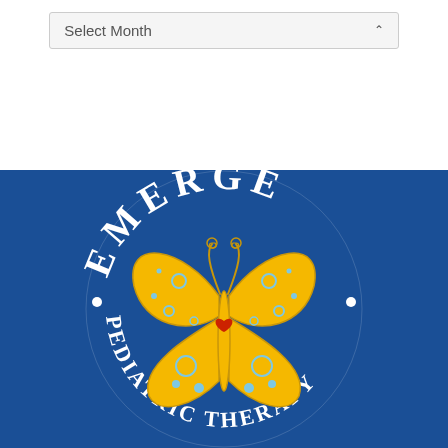[Figure (screenshot): Dropdown menu labeled 'Select Month' with a downward chevron arrow on a white background]
[Figure (logo): Emerge Pediatric Therapy circular logo with a yellow butterfly illustration on a blue background. Text 'EMERGE' arcs across the top and 'PEDIATRIC THERAPY' arcs along the bottom, both in white serif font, with bullet points on either side.]